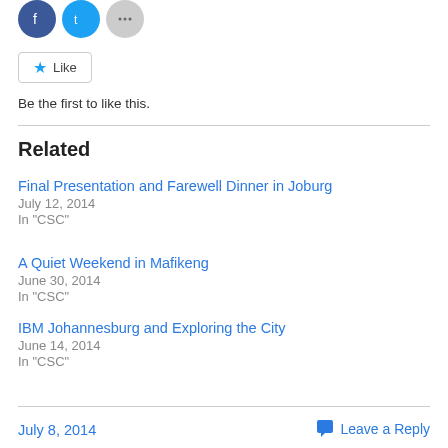[Figure (other): Social share icons: Facebook (blue circle), Twitter (blue circle), More (gray circle)]
Like
Be the first to like this.
Related
Final Presentation and Farewell Dinner in Joburg
July 12, 2014
In "CSC"
A Quiet Weekend in Mafikeng
June 30, 2014
In "CSC"
IBM Johannesburg and Exploring the City
June 14, 2014
In "CSC"
July 8, 2014    Leave a Reply